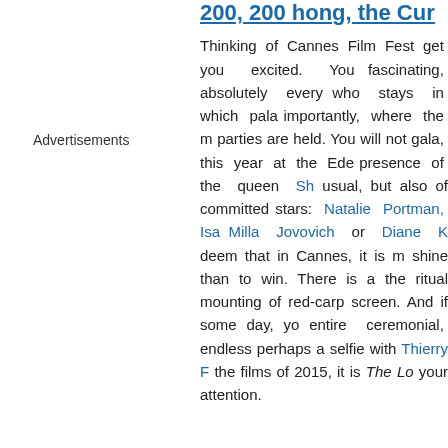200, 200 hong, the Cur...
Advertisements
Thinking of Cannes Film Fest... get you excited. You fascinating, absolutely every who stays in which pala importantly, where the m parties are held. You will not gala, this year at the Ede presence of the queen Sh usual, but also of committed stars: Natalie Portman, Isa Milla Jovovich or Diane K deem that in Cannes, it is m shine than to win. There is a the ritual mounting of red-carp screen. And if some day, yo entire ceremonial, endless perhaps a selfie with Thierry the films of 2015, it is The Lo your attention.